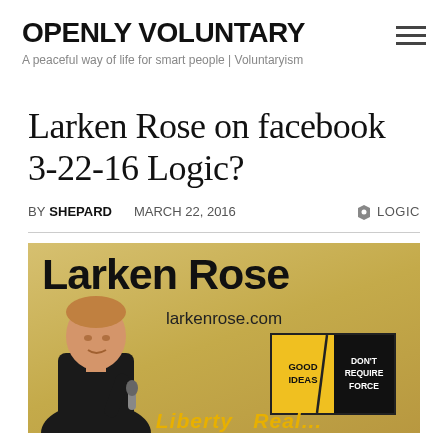OPENLY VOLUNTARY
A peaceful way of life for smart people | Voluntaryism
Larken Rose on facebook 3-22-16 Logic?
BY SHEPARD   MARCH 22, 2016   LOGIC
[Figure (photo): Promotional image for Larken Rose showing a man speaking into a microphone on a yellow-textured background. Large text reads 'Larken Rose' and 'larkenrose.com'. A badge reads 'GOOD IDEAS DON'T REQUIRE FORCE'. Partially visible text at bottom reads 'Liberty...Real...']